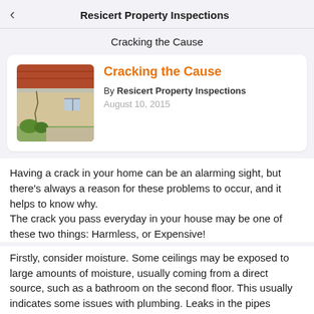Resicert Property Inspections
Cracking the Cause
[Figure (photo): Photo of a house exterior showing a crack in the wall, with a red tile roof, beige stucco walls, and garden landscaping.]
Cracking the Cause
By Resicert Property Inspections
August 10, 2015
Having a crack in your home can be an alarming sight, but there's always a reason for these problems to occur, and it helps to know why.
The crack you pass everyday in your house may be one of these two things: Harmless, or Expensive!
Firstly, consider moisture. Some ceilings may be exposed to large amounts of moisture, usually coming from a direct source, such as a bathroom on the second floor. This usually indicates some issues with plumbing. Leaks in the pipes connected to sink basins, bathtubs or the shower. If you are located in an area that is prone to storms, high levels of rain